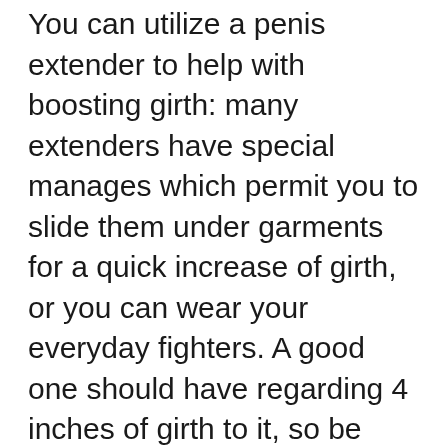You can utilize a penis extender to help with boosting girth: many extenders have special manages which permit you to slide them under garments for a quick increase of girth, or you can wear your everyday fighters. A good one should have regarding 4 inches of girth to it, so be ready for a little a work-out prior to attempting this technique! Lots of penis dimension fanatics claims Dr. David Dayton (a leading medical professional in the penis augmentation area) advises using a penis extender of as much as six inches in length.
Next comes the penile sleeve, which is just a piece of towel or comparable product that wraps around your entire penis, giving a buffer zone for girth as well as a tight twist